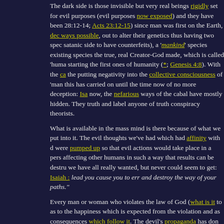The dark side is those invisible but very real beings rigidly set for evil purposes (evil purposes now exposed) and they have been 28:12-14; Acts 23:12-15) since man was first on the Earth, dec ways possible, out to alter their genetics thus having two spec satanic side to have counterfeits), a 'mankind' species existing species the true, real Creator-God made, which is called 'huma starting the first ones of humanity (*; Genesis 4:8). With the ca the putting negativity into the collective consciousness of 'man this has carried on until the time now of no more deception: Isa now, the nefarious ways of the cabal have mostly hidden. They truth and label anyone of truth conspiracy theorists.
What is available in the mass mind is there because of what we put into it. The evil thoughts we've had which had affinity with d were pumped up so that evil actions would take place in a pers affecting other humans in such a way that results can be destru we have all really wanted, but never could seem to get: Isaiah : lead you cause you to err and destroy the way of your paths."
Every man or woman who violates the law of God (what is it to as to the happiness which is expected from the violation and as consequences which follow it. The devil's propaganda has don her.
Ecclesiastes 8:14. Actions in affinity with the dark side further a database we call the mass mind, wherein is both evil and good both affect humans whose thought wavelengths are similar to v collective consciousness, so the world constantly vacillates wit Easy to see the dark side is much smarter than man without in clairvoyance: Proverbs 14:12. But this is all changing: Isaiah 29